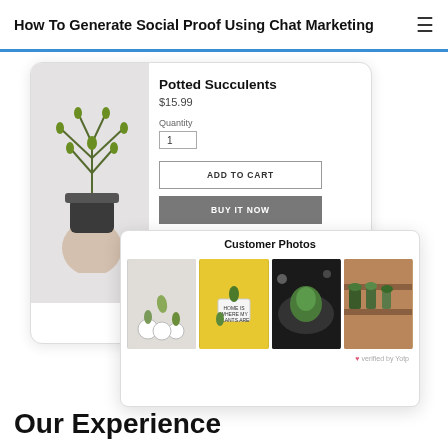How To Generate Social Proof Using Chat Marketing
[Figure (screenshot): A product page screenshot showing 'Potted Succulents' priced at $15.99 with quantity input, ADD TO CART and BUY IT NOW buttons, and a Customer Photos overlay card below showing four succulent plant photos with a 'verified by Yotp' badge.]
Our Experience